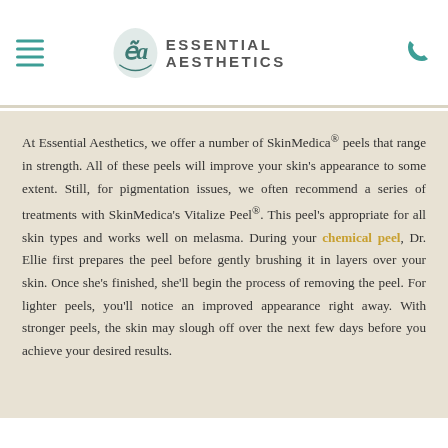Essential Aesthetics
At Essential Aesthetics, we offer a number of SkinMedica® peels that range in strength. All of these peels will improve your skin's appearance to some extent. Still, for pigmentation issues, we often recommend a series of treatments with SkinMedica's Vitalize Peel®. This peel's appropriate for all skin types and works well on melasma. During your chemical peel, Dr. Ellie first prepares the peel before gently brushing it in layers over your skin. Once she's finished, she'll begin the process of removing the peel. For lighter peels, you'll notice an improved appearance right away. With stronger peels, the skin may slough off over the next few days before you achieve your desired results.